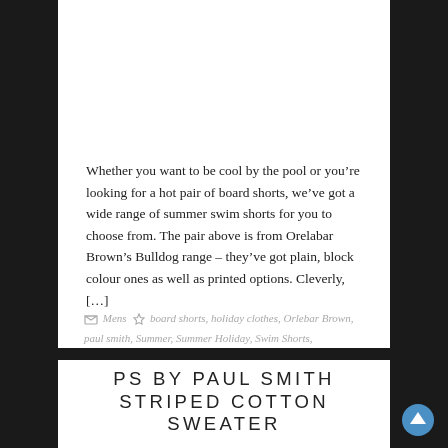Whether you want to be cool by the pool or you're looking for a hot pair of board shorts, we've got a wide range of summer swim shorts for you to choose from. The pair above is from Orelabar Brown's Bulldog range – they've got plain, block colour ones as well as printed options. Cleverly, […]
Mens  board shorts, holiday clothes, Orlebar Brown, paul smith, Summer, Summer Holiday, Swim Shorts, Swimming, Swimming shorts, Ted Baker, Topman
PS BY PAUL SMITH STRIPED COTTON SWEATER